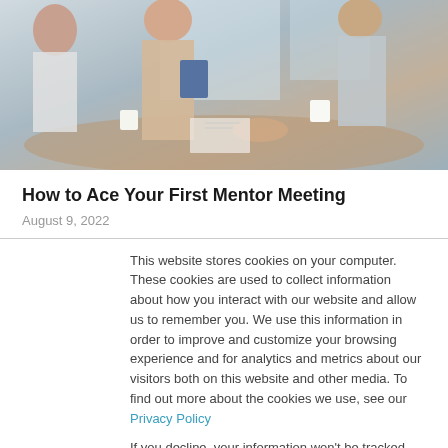[Figure (photo): Business meeting photo showing people seated around a table, holding documents and coffee cups.]
How to Ace Your First Mentor Meeting
August 9, 2022
This website stores cookies on your computer. These cookies are used to collect information about how you interact with our website and allow us to remember you. We use this information in order to improve and customize your browsing experience and for analytics and metrics about our visitors both on this website and other media. To find out more about the cookies we use, see our Privacy Policy
If you decline, your information won't be tracked when you visit this website. A single cookie will be used in your browser to remember your preference not to be tracked.